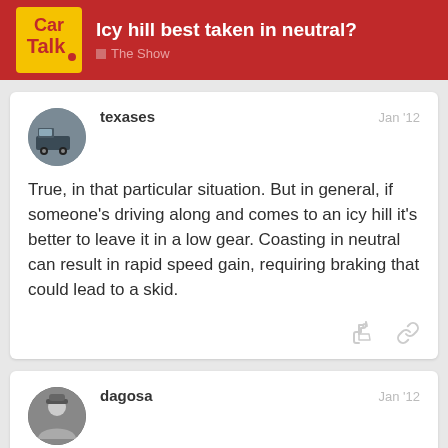Icy hill best taken in neutral? — The Show
texases Jan '12
True, in that particular situation. But in general, if someone's driving along and comes to an icy hill it's better to leave it in a low gear. Coasting in neutral can result in rapid speed gain, requiring braking that could lead to a skid.
dagosa Jan '12